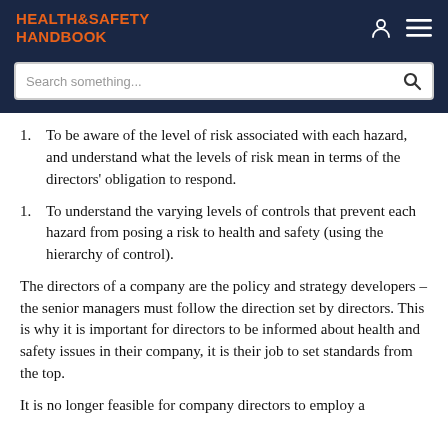HEALTH&SAFETY HANDBOOK
To be aware of the level of risk associated with each hazard, and understand what the levels of risk mean in terms of the directors' obligation to respond.
To understand the varying levels of controls that prevent each hazard from posing a risk to health and safety (using the hierarchy of control).
The directors of a company are the policy and strategy developers – the senior managers must follow the direction set by directors. This is why it is important for directors to be informed about health and safety issues in their company, it is their job to set standards from the top.
It is no longer feasible for company directors to employ a